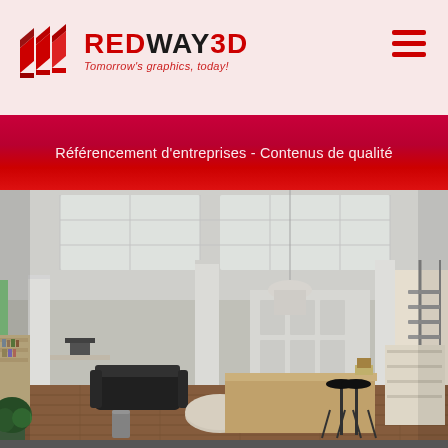[Figure (logo): Redway3D logo with red geometric arrow/chevron icon and text 'REDWAY3D' with tagline 'Tomorrow's graphics, today!']
≡ (hamburger menu icon)
Référencement d'entreprises - Contenus de qualité
[Figure (photo): Interior 3D rendering of a modern open-plan office space with white columns, skylights, dark hardwood floors, black sofas, a reception counter, spiral staircase on the right, and a bookshelf on the left.]